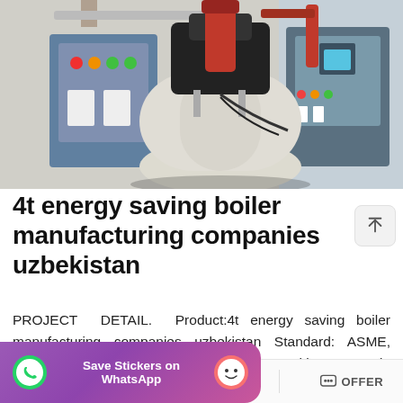[Figure (photo): Industrial boiler and control panel equipment in a facility. A large red cylindrical component on top, black boiler machinery in center, gray control panels on left and right sides with wiring and gauges.]
4t energy saving boiler manufacturing companies uzbekistan
PROJECT DETAIL. Product:4t energy saving boiler manufacturing companies uzbekistan Standard: ASME, ISO, IBR. Packaging Detail: Regular packing or nude packing, or upon customers requiremen...
[Figure (screenshot): WhatsApp popup overlay with purple/pink gradient background showing 'Save Stickers on WhatsApp' text, a green phone icon and a cartoon face icon.]
MAIL   ADVISORY   OFFER